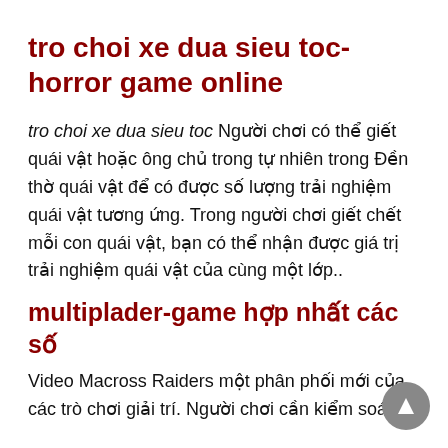tro choi xe dua sieu toc-horror game online
tro choi xe dua sieu toc Người chơi có thể giết quái vật hoặc ông chủ trong tự nhiên trong Đền thờ quái vật để có được số lượng trải nghiệm quái vật tương ứng. Trong người chơi giết chết mỗi con quái vật, bạn có thể nhận được giá trị trải nghiệm quái vật của cùng một lớp..
multiplader-game hợp nhất các số
Video Macross Raiders một phân phối mới của các trò chơi giải trí. Người chơi cần kiểm soát